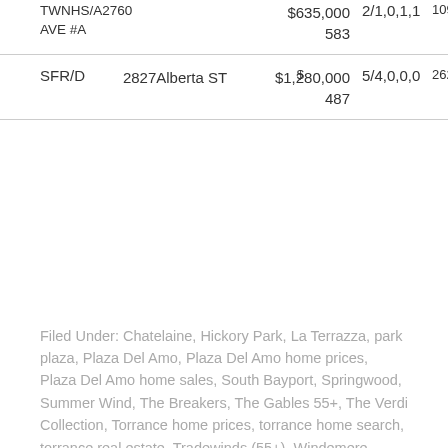| Type | Address | Price | Beds/Baths | SqFt |
| --- | --- | --- | --- | --- |
| TWNHS/A2760 AVE #A |  | $635,000 583 | 2/1,0,1,1 | 109 |
| SFR/D | 2827 Alberta ST | $1,280,000 487 | 5/4,0,0,0 | 262 |
Filed Under: Chatelaine, Hickory Park, La Terrazza, park plaza, Plaza Del Amo, Plaza Del Amo home prices, Plaza Del Amo home sales, South Bayport, Springwood, Summer Wind, The Breakers, The Gables 55+, The Verdi Collection, Torrance home prices, torrance home search, torrance real estate, Tradewinds (55+), Windemere, Windsong — Tagged With: gated communities of plaza del amo, plaza del amo, plaza del amo reators, south bayport plaza del amo, springwood plaza del amo,